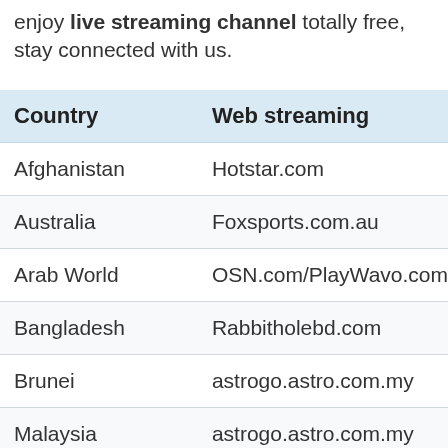enjoy live streaming channel totally free, stay connected with us.
| Country | Web streaming |
| --- | --- |
| Afghanistan | Hotstar.com |
| Australia | Foxsports.com.au |
| Arab World | OSN.com/PlayWavo.com |
| Bangladesh | Rabbitholebd.com |
| Brunei | astrogo.astro.com.my |
| Malaysia | astrogo.astro.com.my |
| Canada | Hotstar.com |
| Central America | espn.co.uk/ Caribbean |